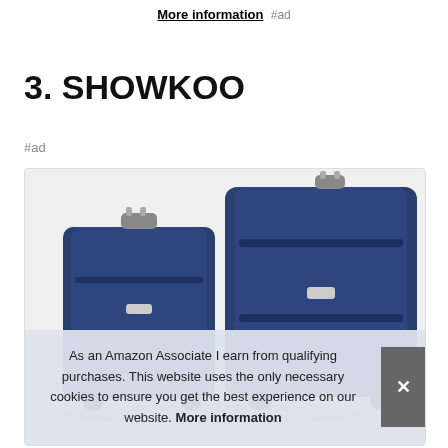More information #ad
3. SHOWKOO
#ad
[Figure (photo): Two navy blue hard-shell suitcases of different sizes with silver handles, displayed against a white background]
As an Amazon Associate I earn from qualifying purchases. This website uses the only necessary cookies to ensure you get the best experience on our website. More information